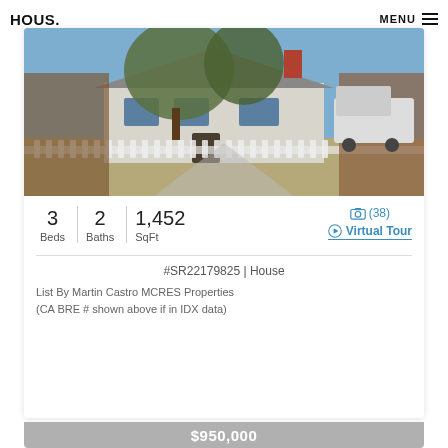HOUS.
[Figure (photo): Exterior photo of a single-story house with large trees in front, white picket fence, and a van visible on the right side. Brown wood fence panels on both sides.]
3 Beds  2 Baths  1,452 SqFt
(38)  Virtual Tour
#SR22179825 | House
List By Martin Castro MCRES Properties
(CA BRE # shown above if in IDX data)
$950,000